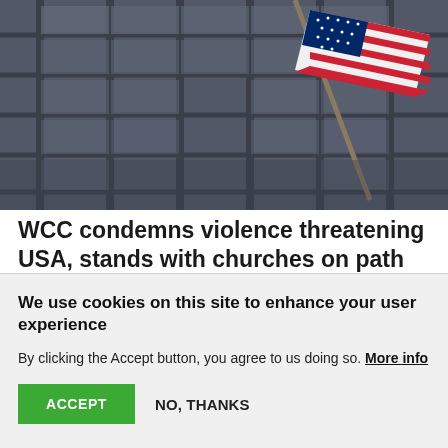[Figure (photo): Close-up photograph of an American flag flying in front of a dark grey modern office building with glass and concrete facade.]
WCC condemns violence threatening USA, stands with churches on path to peace
As violence mounted in Washington, DC on 6 January amid the ongoing election-related tensions in the USA, World Council of Churches (WCC) is...
We use cookies on this site to enhance your user experience
By clicking the Accept button, you agree to us doing so. More info
ACCEPT   NO, THANKS